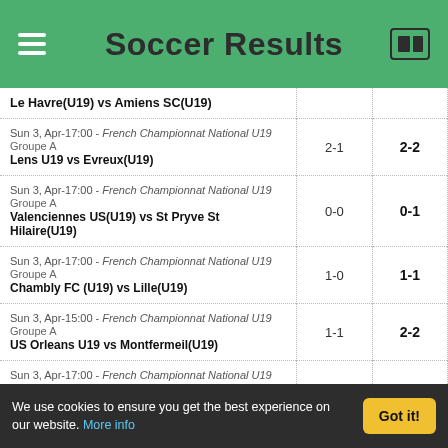Soccer Results
| Match | HT | FT |
| --- | --- | --- |
| Le Havre(U19) vs Amiens SC(U19) |  |  |
| Sun 3, Apr-17:00 - French Championnat National U19 Groupe A
Lens U19 vs Evreux(U19) | 2-1 | 2-2 |
| Sun 3, Apr-17:00 - French Championnat National U19 Groupe A
Valenciennes US(U19) vs St Pryve St Hilaire(U19) | 0-0 | 0-1 |
| Sun 3, Apr-17:00 - French Championnat National U19 Groupe A
Chambly FC (U19) vs Lille(U19) | 1-0 | 1-1 |
| Sun 3, Apr-15:00 - French Championnat National U19 Groupe A
US Orleans U19 vs Montfermeil(U19) | 1-1 | 2-2 |
| Sun 3, Apr-17:00 - French Championnat National U19 Groupe A
Caen(U19) vs Feignies(U19) |  | 2-0 |
| Sun 3, Apr-17:00 - French Championnat National U19 Groupe B
ES Troyes AC(U19) vs Lyonnais U19 |  | 1-0 |
| Sun 3, Apr-17:00 - French Championnat National U19 Groupe B | 0-0 | 3-0 |
We use cookies to ensure you get the best experience on our website. More info